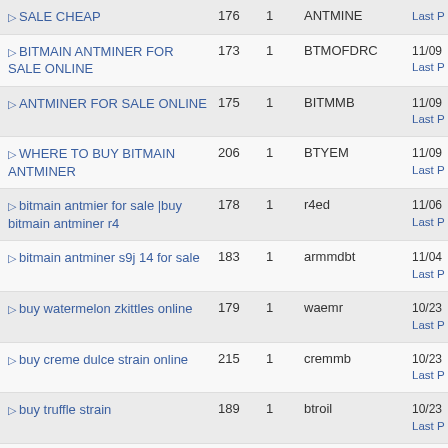| Title | Posts | Views | User | Date |
| --- | --- | --- | --- | --- |
| SALE CHEAP | 176 | 1 | ANTMINE | Last P |
| BITMAIN ANTMINER FOR SALE ONLINE | 173 | 1 | BTMOFDRC | 11/09 Last P |
| ANTMINER FOR SALE ONLINE | 175 | 1 | BITMMB | 11/09 Last P |
| WHERE TO BUY BITMAIN ANTMINER | 206 | 1 | BTYEM | 11/09 Last P |
| bitmain antmier for sale |buy bitmain antminer r4 | 178 | 1 | r4ed | 11/06 Last P |
| bitmain antminer s9j 14 for sale | 183 | 1 | armmdbt | 11/04 Last P |
| buy watermelon zkittles online | 179 | 1 | waemr | 10/23 Last P |
| buy creme dulce strain online | 215 | 1 | cremmb | 10/23 Last P |
| buy truffle strain | 189 | 1 | btroil | 10/23 Last P |
| Buy Narcan (naloxone) online | Buy Ritalin online | Buy Mephedrone (4MMC) online | Ketamine powder online | Buy | 204 | 1 | zktonlineshop | 10/11 Last P |